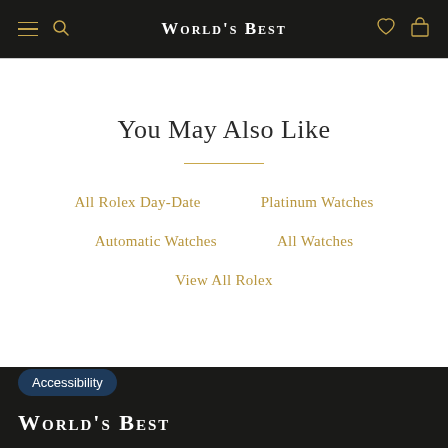World's Best
You May Also Like
All Rolex Day-Date
Platinum Watches
Automatic Watches
All Watches
View All Rolex
Accessibility  World's Best